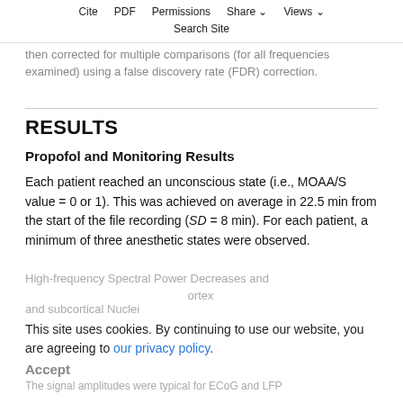Cite   PDF   Permissions   Share ⌄   Views ⌄
Search Site
then corrected for multiple comparisons (for all frequencies examined) using a false discovery rate (FDR) correction.
RESULTS
Propofol and Monitoring Results
Each patient reached an unconscious state (i.e., MOAA/S value = 0 or 1). This was achieved on average in 22.5 min from the start of the file recording (SD = 8 min). For each patient, a minimum of three anesthetic states were observed.
High-frequency Spectral Power Decreases and ... cortex and subcortical Nuclei
This site uses cookies. By continuing to use our website, you are agreeing to our privacy policy.
Accept
The signal amplitudes were typical for ECoG and LFP